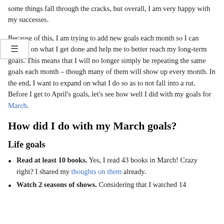some things fall through the cracks, but overall, I am very happy with my successes.
Because of this, I am trying to add new goals each month so I can expand on what I get done and help me to better reach my long-term goals. This means that I will no longer simply be repeating the same goals each month – though many of them will show up every month. In the end, I want to expand on what I do so as to not fall into a rut. Before I get to April's goals, let's see how well I did with my goals for March.
How did I do with my March goals?
Life goals
Read at least 10 books. Yes, I read 43 books in March! Crazy right? I shared my thoughts on them already.
Watch 2 seasons of shows. Considering that I watched 14